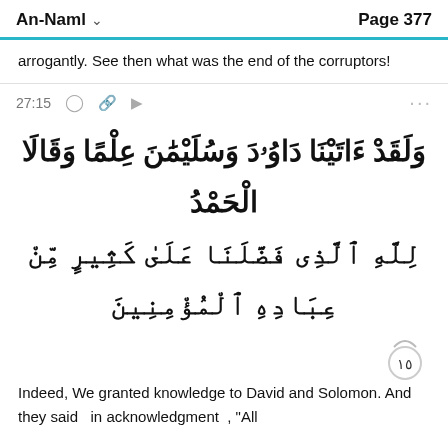An-Naml  Page 377
arrogantly. See then what was the end of the corruptors!
27:15
[Figure (other): Arabic Quranic verse 27:15 in large bold Arabic script]
Indeed, We granted knowledge to David and Solomon. And they said  in acknowledgment , "All